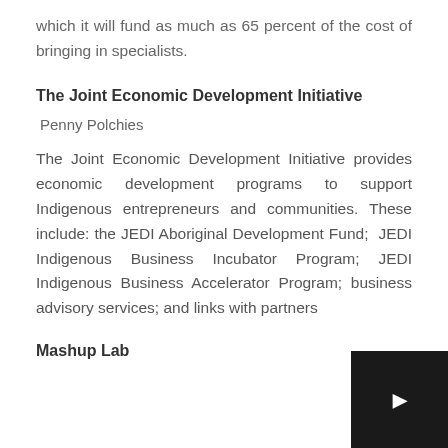which it will fund as much as 65 percent of the cost of bringing in specialists.
The Joint Economic Development Initiative
Penny Polchies
The Joint Economic Development Initiative provides economic development programs to support Indigenous entrepreneurs and communities. These include: the JEDI Aboriginal Development Fund;  JEDI Indigenous Business Incubator Program; JEDI Indigenous Business Accelerator Program; business advisory services; and links with partners
Mashup Lab